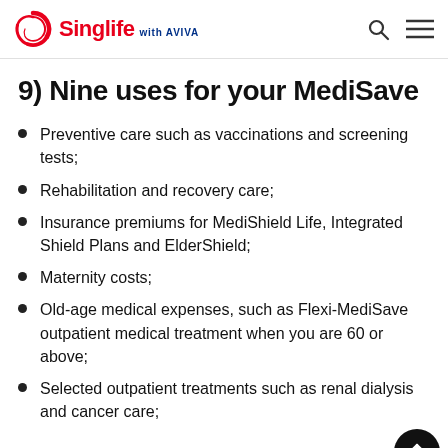Singlife with AVIVA
9) Nine uses for your MediSave
Preventive care such as vaccinations and screening tests;
Rehabilitation and recovery care;
Insurance premiums for MediShield Life, Integrated Shield Plans and ElderShield;
Maternity costs;
Old-age medical expenses, such as Flexi-MediSave outpatient medical treatment when you are 60 or above;
Selected outpatient treatments such as renal dialysis and cancer care;